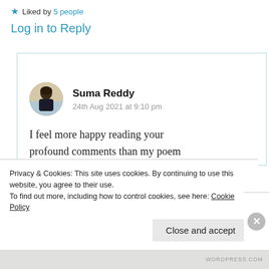Liked by 5 people
Log in to Reply
Suma Reddy
24th Aug 2021 at 9:10 pm
I feel more happy reading your profound comments than my poem dear Krish. “emotions are like
Privacy & Cookies: This site uses cookies. By continuing to use this website, you agree to their use.
To find out more, including how to control cookies, see here: Cookie Policy
Close and accept